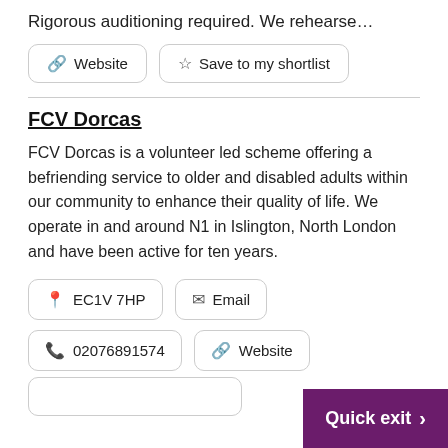Rigorous auditioning required. We rehearse…
Website | Save to my shortlist
FCV Dorcas
FCV Dorcas is a volunteer led scheme offering a befriending service to older and disabled adults within our community to enhance their quality of life. We operate in and around N1 in Islington, North London and have been active for ten years.
EC1V 7HP | Email
02076891574 | Website
Quick exit >